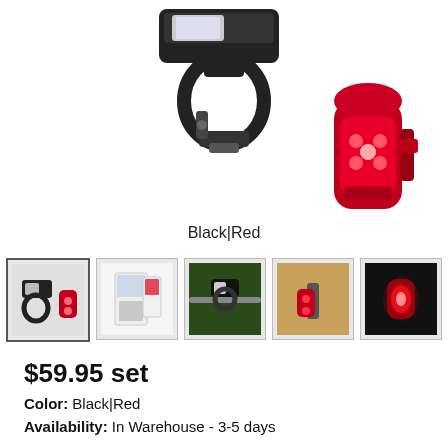[Figure (photo): Product photo of a bicycle light set: a black front headlight with handlebar mount and a red rear taillight (Cateye Viz 150), shown on white background]
Black|Red
[Figure (photo): Row of 5 product thumbnail images showing front+rear light set, product box, lights on bike handlebars, rear light on bike, and rear light glowing]
$59.95 set
Color:  Black|Red
Availability:  In Warehouse - 3-5 days